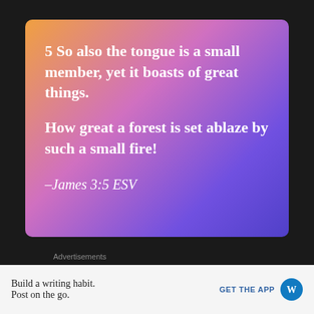[Figure (illustration): Gradient card (orange to purple to blue-violet) with Bible verse quote text in white: '5 So also the tongue is a small member, yet it boasts of great things. How great a forest is set ablaze by such a small fire! -James 3:5 ESV']
Advertisements
[Figure (screenshot): WordPress advertisement banner with dark navy background, WordPress logo (W in circle) top right, and large white text 'Opinions.' at bottom left]
Build a writing habit.
Post on the go.
GET THE APP